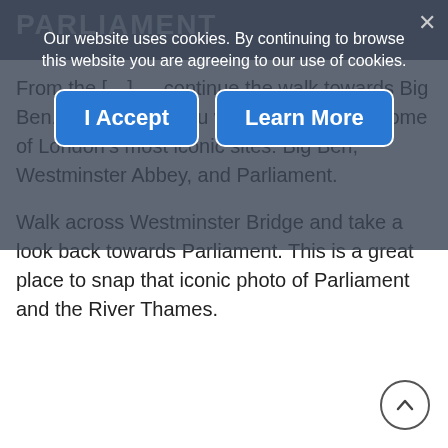PARLIAMENT
From the … continue the walk towards Big Ben. Before long, you will be able to see some of London's most iconic sites: Big Ben, Westminster Abbey, and Parliament.
Walk across Westminster Bridge and take a look back towards Parliament. This is a great place to snap that iconic photo of Parliament and the River Thames.
Our website uses cookies. By continuing to browse this website you are agreeing to our use of cookies.